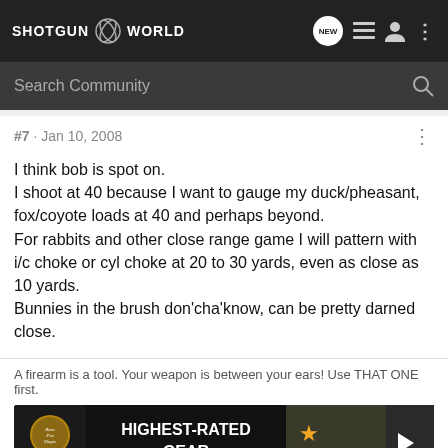SHOTGUN WORLD
Search Community
#7 · Jan 10, 2008
I think bob is spot on.
I shoot at 40 because I want to gauge my duck/pheasant, fox/coyote loads at 40 and perhaps beyond.
For rabbits and other close range game I will pattern with i/c choke or cyl choke at 20 to 30 yards, even as close as 10 yards.
Bunnies in the brush don'cha'know, can be pretty darned close.
A firearm is a tool. Your weapon is between your ears! Use THAT ONE first.
[Figure (screenshot): Bass Pro Shops advertisement banner: HIGHEST-RATED GEAR with rating 4.9 and play button]